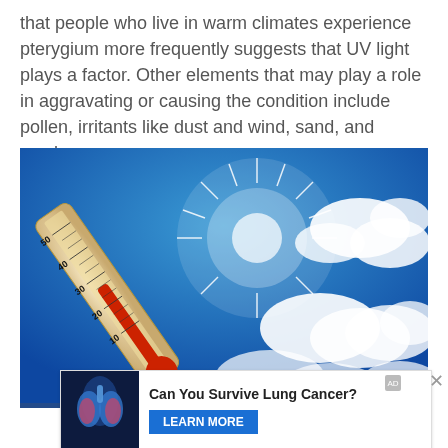that people who live in warm climates experience pterygium more frequently suggests that UV light plays a factor. Other elements that may play a role in aggravating or causing the condition include pollen, irritants like dust and wind, sand, and smoke.
[Figure (photo): A thermometer photographed from below against a bright sunny blue sky with white clouds. The sun creates a starburst effect. The thermometer reads around 50 degrees.]
[Figure (photo): Advertisement banner: medical illustration of human lungs (blue/pink) on dark background on left side.]